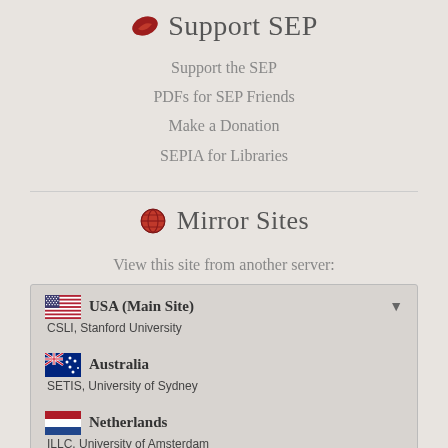Support SEP
Support the SEP
PDFs for SEP Friends
Make a Donation
SEPIA for Libraries
Mirror Sites
View this site from another server:
USA (Main Site)
CSLI, Stanford University
Australia
SETIS, University of Sydney
Netherlands
ILLC, University of Amsterdam